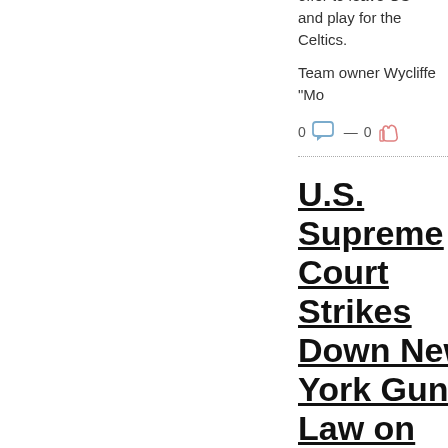offer to leave GS and play for the Celtics.
Team owner Wycliffe "Mo
0  —  0
U.S. Supreme Court Strikes Down New York Gun Law on Concealed Weapons
01 Jul 20:00:36  |  The Spoof
The Quacky Supreme Court